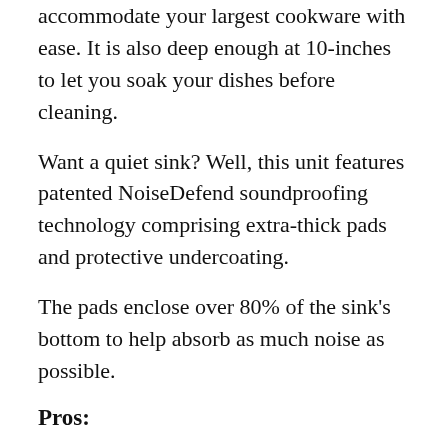accommodate your largest cookware with ease. It is also deep enough at 10-inches to let you soak your dishes before cleaning.
Want a quiet sink? Well, this unit features patented NoiseDefend soundproofing technology comprising extra-thick pads and protective undercoating.
The pads enclose over 80% of the sink's bottom to help absorb as much noise as possible.
Pros:
Rust and corrosion-resistant satin finish
Easily fits 33-inch mini cabinets
Easy to clean its gently rounded corners
No condensation build-up because it's insulated